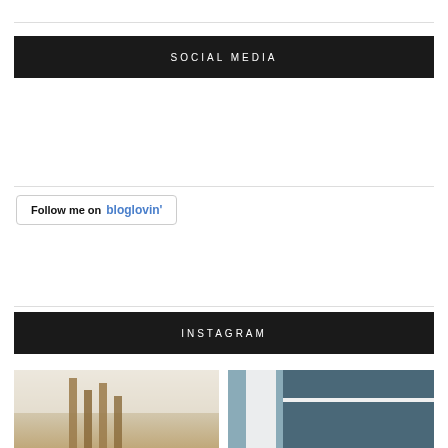SOCIAL MEDIA
[Figure (other): Follow me on bloglovin' button with border]
INSTAGRAM
[Figure (photo): Interior photo showing wooden planks against a white brick wall]
[Figure (photo): Interior photo showing a door frame and blue-gray wall with shelf]